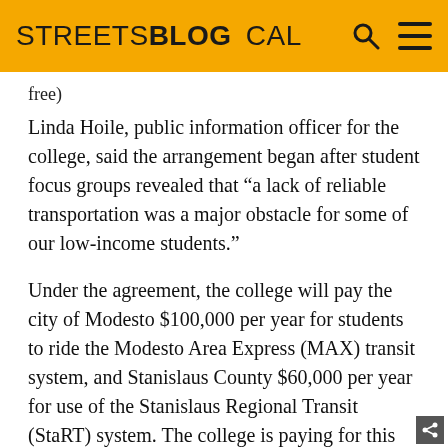STREETSBLOG CAL
free)
Linda Hoile, public information officer for the college, said the arrangement began after student focus groups revealed that “a lack of reliable transportation was a major obstacle for some of our low-income students.”
Under the agreement, the college will pay the city of Modesto $100,000 per year for students to ride the Modesto Area Express (MAX) transit system, and Stanislaus County $60,000 per year for use of the Stanislaus Regional Transit (StaRT) system. The college is paying for this program through statewide funding meant to reduce the achievement gap among certain student groups, such as low-income and